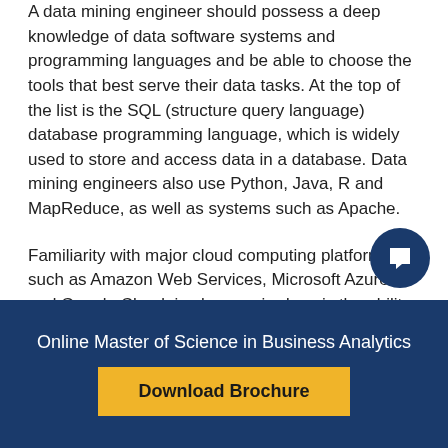A data mining engineer should possess a deep knowledge of data software systems and programming languages and be able to choose the tools that best serve their data tasks. At the top of the list is the SQL (structure query language) database programming language, which is widely used to store and access data in a database. Data mining engineers also use Python, Java, R and MapReduce, as well as systems such as Apache.
Familiarity with major cloud computing platforms, such as Amazon Web Services, Microsoft Azure and Google Cloud, is also required, as is the ability to leverage analytics tools such as Pandas and PySpark.
Business and Communication Skills
Online Master of Science in Business Analytics
Download Brochure